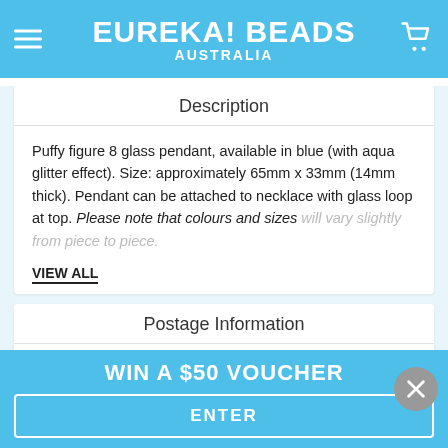EUREKA! BEADS AUSTRALIA
Description
Puffy figure 8 glass pendant, available in blue (with aqua glitter effect). Size: approximately 65mm x 33mm (14mm thick). Pendant can be attached to necklace with glass loop at top. Please note that colours and sizes will vary slightly from piece to piece.
VIEW ALL
Postage Information
Eureka! Beads Australia offers door to door service via
WIN A $50 VOUCHER
ENTER